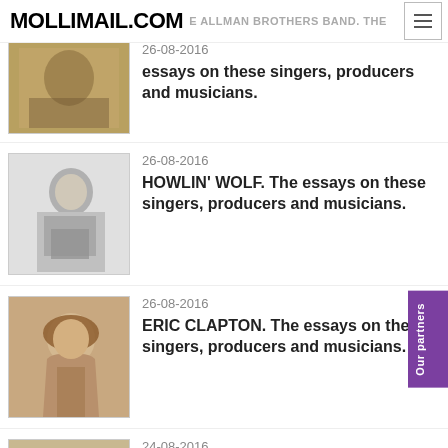MOLLIMAIL.COM | THE ALLMAN BROTHERS BAND. The essays on these singers, producers and musicians.
26-08-2016
THE ALLMAN BROTHERS BAND. The essays on these singers, producers and musicians.
[Figure (photo): Sepia-toned photo related to The Allman Brothers Band]
26-08-2016
HOWLIN' WOLF. The essays on these singers, producers and musicians.
[Figure (photo): Black and white photo of Howlin' Wolf playing banjo]
26-08-2016
ERIC CLAPTON. The essays on these singers, producers and musicians.
[Figure (photo): Color photo of Eric Clapton with curly hair]
24-08-2016
LYNYRD SKYNYRD. The essays on these singers, producers and musicians.
[Figure (photo): Group photo of Lynyrd Skynyrd band members]